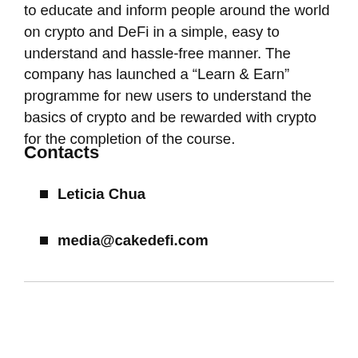to educate and inform people around the world on crypto and DeFi in a simple, easy to understand and hassle-free manner. The company has launched a “Learn & Earn” programme for new users to understand the basics of crypto and be rewarded with crypto for the completion of the course.
Contacts
Leticia Chua
media@cakedefi.com
Previous Post
Goldman Sachs wants to ‘tokenize’ real-world assets: report
Next Post